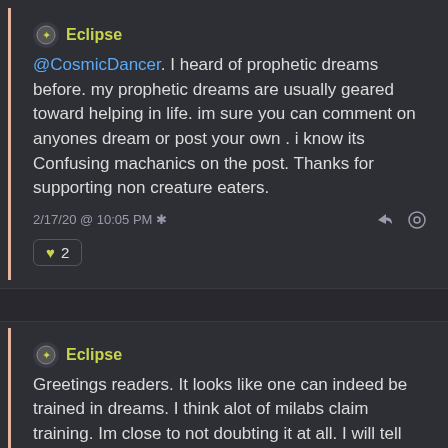Eclipse
@CosmicDancer. I heard of prophetic dreams before. my prophetic dreams are usually geared toward helping in life. im sure you can comment on anyones dream or post your own . i know its Confusing machanics on the post. Thanks for supporting non creature eaters.
2/17/20 @ 10:05 PM ✱
♥ 2
Eclipse
Greetings readers. It looks like one can indeed be trained in dreams. I think alot of milabs claim training. Im close to not doubting it at all. I will tell you what i mean so stick with me weather you like